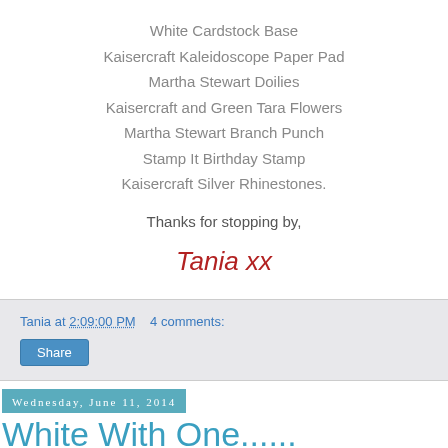White Cardstock Base
Kaisercraft Kaleidoscope Paper Pad
Martha Stewart Doilies
Kaisercraft and Green Tara Flowers
Martha Stewart Branch Punch
Stamp It Birthday Stamp
Kaisercraft Silver Rhinestones.
Thanks for stopping by,
Tania xx
Tania at 2:09:00 PM   4 comments:
Share
Wednesday, June 11, 2014
White With One...... Pomegranate